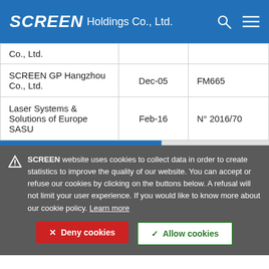SCREEN Holdings Co., Ltd.
| Company | Date | Certificate |
| --- | --- | --- |
| Co., Ltd. |  |  |
| SCREEN GP Hangzhou Co., Ltd. | Dec-05 | FM665 |
| Laser Systems & Solutions of Europe SASU | Feb-16 | N° 2016/70 |
SCREEN website uses cookies to collect data in order to create statistics to improve the quality of our website. You can accept or refuse our cookies by clicking on the buttons below. A refusal will not limit your user experience. If you would like to know more about our cookie policy. Learn more
✕ Deny cookies
✓ Allow cookies